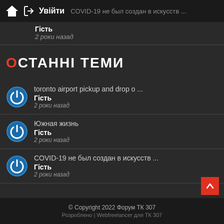Увійти | COVID-19 не был создан в искусств ...
Гість
2 роки назад
ОСТАННІ ТЕМИ
toronto airport pickup and drop o ...
Гість
2 роки назад
Южная жизнь
Гість
2 роки назад
COVID-19 не был создан в искусств ...
Гість
2 роки назад
© Copyright 2022 Форум ТК 307
Розроблено | Webfreelancer для ТК 307